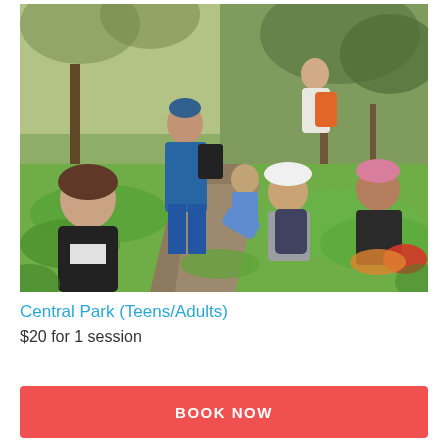[Figure (photo): Group of people including teens and adults doing outdoor activity in Central Park, crouching and working among green plants on a dirt path, surrounded by trees and vegetation.]
Central Park (Teens/Adults)
$20 for 1 session
BOOK NOW